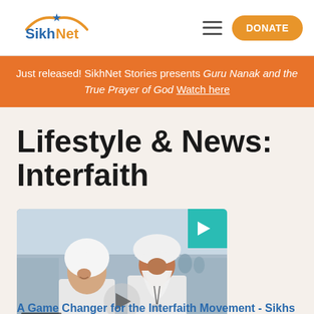SikhNet | DONATE
Just released! SikhNet Stories presents Guru Nanak and the True Prayer of God Watch here
Lifestyle & News: Interfaith
[Figure (photo): Two people in white clothing, one wearing a white turban with a long white beard, the other wearing a white head covering, standing in a large indoor venue. A teal play button is in the top right corner and a circular play button overlaps the bottom center. Duration 20:58 shown bottom left.]
A Game Changer for the Interfaith Movement - Sikhs